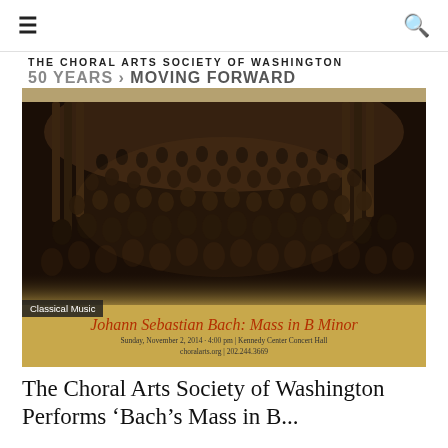≡  🔍
[Figure (photo): Concert poster for The Choral Arts Society of Washington 50 Years Moving Forward. Shows a large choir group photo in formal attire on a concert hall stage with organ pipes in the background. Bottom gold band reads: Johann Sebastian Bach: Mass in B Minor, Sunday, November 2, 2014 · 4:00 pm | Kennedy Center Concert Hall, choralarts.org | 202.244.3669]
Classical Music
The Choral Arts Society of Washington Performs 'Bach's Mass in B...